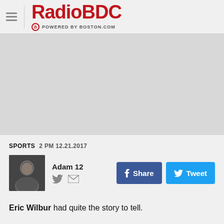RadioBDC POWERED BY BOSTON.COM
[Figure (photo): Large gray placeholder image area for a photo or media content]
SPORTS  2 PM 12.21.2017
[Figure (photo): Author avatar photo of Adam 12, small square headshot]
Adam 12
Eric Wilbur had quite the story to tell.